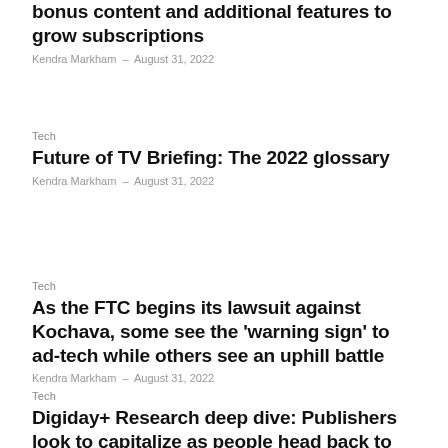bonus content and additional features to grow subscriptions
Kendra Markham – August 31, 2022
Tech
Future of TV Briefing: The 2022 glossary
Kendra Markham – August 31, 2022
Tech
As the FTC begins its lawsuit against Kochava, some see the 'warning sign' to ad-tech while others see an uphill battle
Kendra Markham – August 31, 2022
Tech
Digiday+ Research deep dive: Publishers look to capitalize as people head back to events